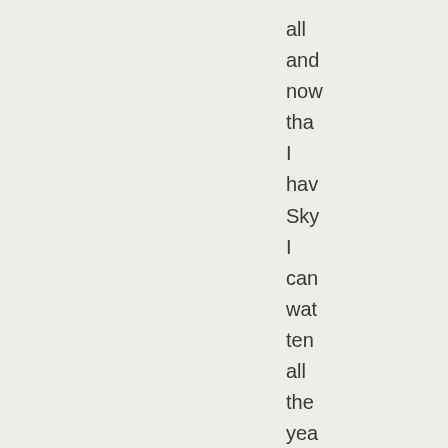all
and
now
that
I
have
Sky
I
can
watch
ten
all
the
year
round
not
just
the
two
weeks
global
thought
the